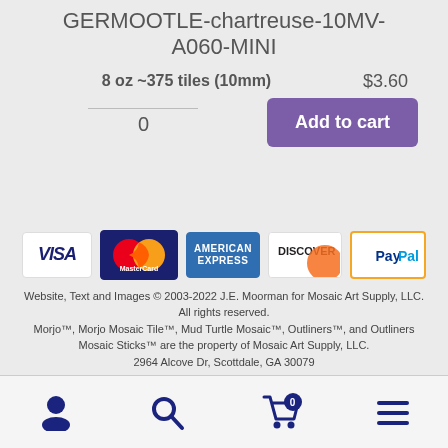GERMOOTLE-chartreuse-10MV-A060-MINI
8 oz ~375 tiles (10mm)   $3.60
0
Add to cart
[Figure (logo): Payment method logos: VISA, MasterCard, American Express, Discover, PayPal]
Website, Text and Images © 2003-2022 J.E. Moorman for Mosaic Art Supply, LLC. All rights reserved. Morjo™, Morjo Mosaic Tile™, Mud Turtle Mosaic™, Outliners™, and Outliners Mosaic Sticks™ are the property of Mosaic Art Supply, LLC. 2964 Alcove Dr, Scottdale, GA 30079
[Figure (infographic): Bottom navigation bar with user icon, search icon, shopping cart with badge showing 0, and hamburger menu icon]